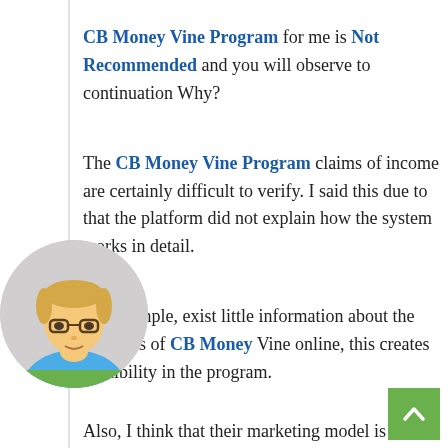CB Money Vine Program for me is Not Recommended and you will observe to continuation Why?
The CB Money Vine Program claims of income are certainly difficult to verify. I said this due to that the platform did not explain how the system works in detail.
For example, exist little information about the founders of CB Money Vine online, this creates credibility in the program.
Also, I think that their marketing model is not the